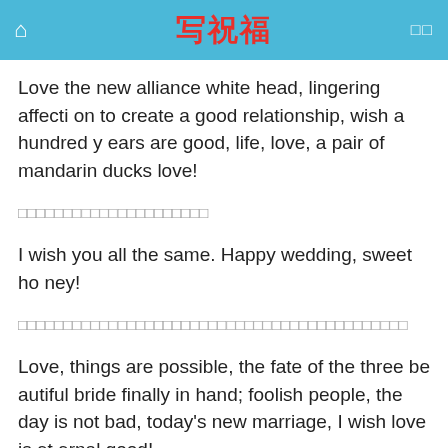写祝福
Love the new alliance white head, lingering affection to create a good relationship, wish a hundred years are good, life, love, a pair of mandarin ducks love!
□□□□□□□□□□□□□□□□□□□□□
I wish you all the same. Happy wedding, sweet honey!
□□□□□□□□□□□□□□□□□□□□□□□□□□□□□□□□□□□□□□□□□□□
Love, things are possible, the fate of the three beautiful bride finally in hand; foolish people, the day is not bad, today's new marriage, I wish love is eternal good!